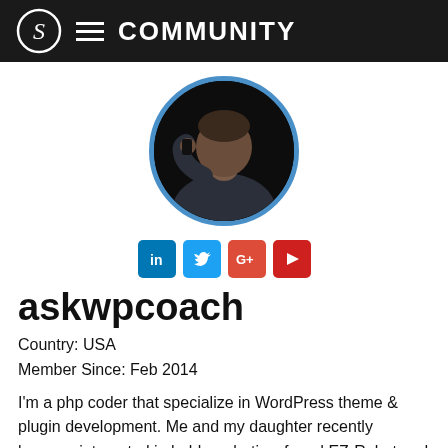COMMUNITY
[Figure (photo): Circular profile photo of a man with a blue border, on a dark background]
[Figure (infographic): Social media icons: LinkedIn, Twitter, Google+, YouTube]
askwpcoach
Country: USA
Member Since: Feb 2014
I'm a php coder that specialize in WordPress theme & plugin development. Me and my daughter recently became interested in hobby robotics, found EZ-Robot and now loving our JD.